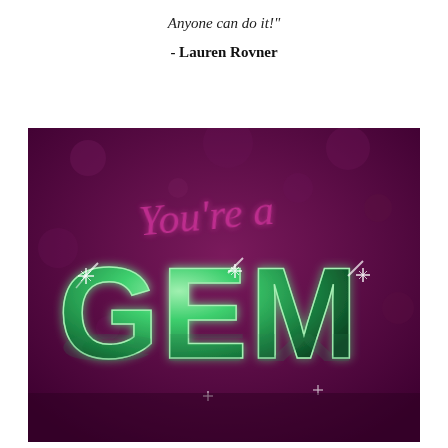Anyone can do it!"
- Lauren Rovner
[Figure (illustration): Decorative image on a deep purple/magenta textured background featuring stylized pink cursive script reading 'You're a' above large shiny 3D green gemstone-style block letters spelling 'GEM', with sparkle effects and a subtle reflection below the letters.]